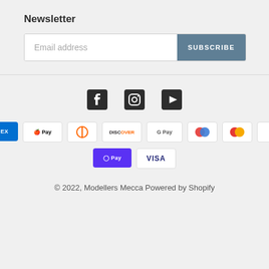Newsletter
Email address | SUBSCRIBE
[Figure (other): Social media icons: Facebook, Instagram, YouTube]
[Figure (other): Payment method badges: AMEX, Apple Pay, Diners Club, Discover, Google Pay, Mastercard (two variants), PayPal, Shop Pay, Visa]
© 2022, Modellers Mecca Powered by Shopify